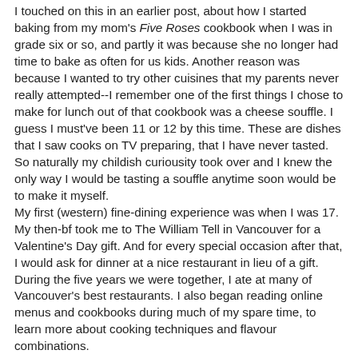I touched on this in an earlier post, about how I started baking from my mom's Five Roses cookbook when I was in grade six or so, and partly it was because she no longer had time to bake as often for us kids. Another reason was because I wanted to try other cuisines that my parents never really attempted--I remember one of the first things I chose to make for lunch out of that cookbook was a cheese souffle. I guess I must've been 11 or 12 by this time. These are dishes that I saw cooks on TV preparing, that I have never tasted. So naturally my childish curiousity took over and I knew the only way I would be tasting a souffle anytime soon would be to make it myself.
My first (western) fine-dining experience was when I was 17. My then-bf took me to The William Tell in Vancouver for a Valentine's Day gift. And for every special occasion after that, I would ask for dinner at a nice restaurant in lieu of a gift. During the five years we were together, I ate at many of Vancouver's best restaurants. I also began reading online menus and cookbooks during much of my spare time, to learn more about cooking techniques and flavour combinations.
In the last year and a half, I have been especially fortunate to have experienced a lot more good food than I have ever thought possible. And I also find it extremely flattering that a lot of